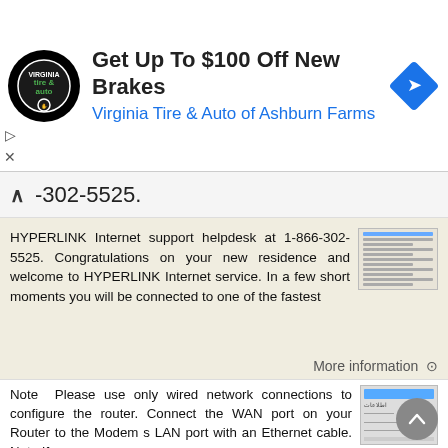[Figure (infographic): Ad banner for Virginia Tire & Auto of Ashburn Farms with logo, title 'Get Up To $100 Off New Brakes', and navigation icon]
-302-5525.
HYPERLINK Internet support helpdesk at 1-866-302-5525. Congratulations on your new residence and welcome to HYPERLINK Internet service. In a few short moments you will be connected to one of the fastest
More information →
Please use only wired network connections to configure the router.
Note Please use only wired network connections to configure the router. Connect the WAN port on your Router to the Modem s LAN port with an Ethernet cable. Note If